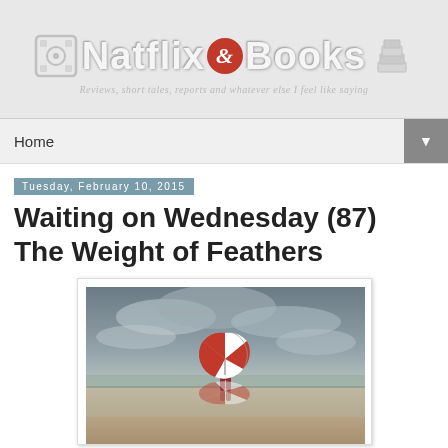[Figure (logo): Natflix & Books blog header banner with film reel icon on left, stack of books icon on right, site title 'Natflix & Books' in large white text with a red circle ampersand, and subtitle tagline in gray italic below]
Home
Tuesday, February 10, 2015
Waiting on Wednesday (87) The Weight of Feathers
[Figure (photo): Book cover photo showing a person standing on a wet beach holding a red and white striped umbrella, with dramatic cloudy sky and reflection in the wet sand]